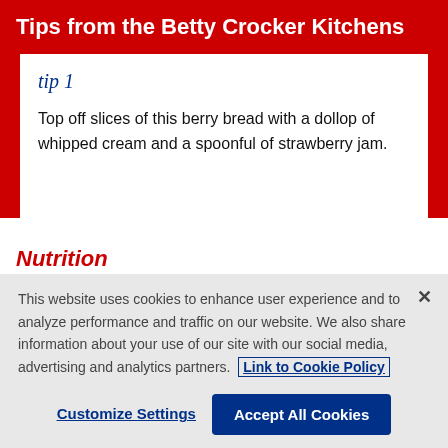Tips from the Betty Crocker Kitchens
[Figure (illustration): tip 1 label in handwritten-style italic navy blue script]
Top off slices of this berry bread with a dollop of whipped cream and a spoonful of strawberry jam.
Nutrition
This website uses cookies to enhance user experience and to analyze performance and traffic on our website. We also share information about your use of our site with our social media, advertising and analytics partners. Link to Cookie Policy
Customize Settings
Accept All Cookies